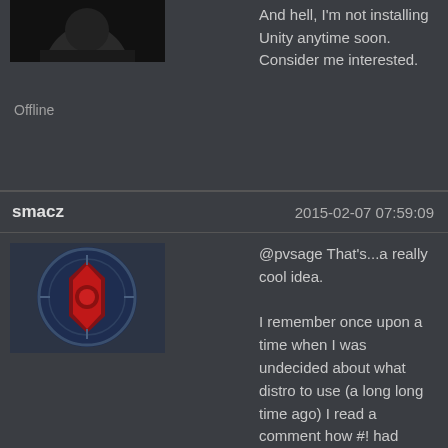And hell, I'm not installing Unity anytime soon. Consider me interested.
Offline
smacz
2015-02-07 07:59:09
[Figure (illustration): Smacz user avatar showing a stylized red emblem on dark blue circular background]
@pvsage That's...a really cool idea.

I remember once upon a time when I was undecided about what distro to use (a long long time ago) I read a comment how #! had translated the "Unix-y feel to the GUI using conky and tint2". It's a style and a community more than a distro. *sigh* I guess only time will tell how it will find a way to live on.
Great minds discuss ideas; average minds discuss events; small minds discuss people.

-- Eleanor Roosevelt
Offl